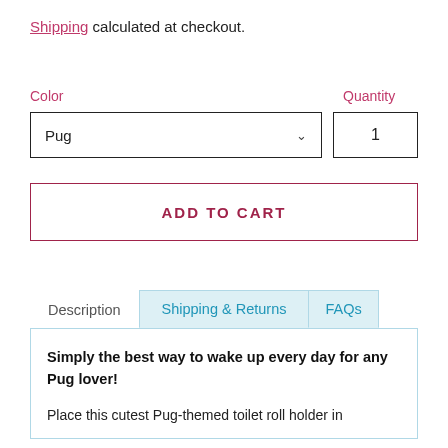Shipping calculated at checkout.
Color
Quantity
Pug
1
ADD TO CART
Description
Shipping & Returns
FAQs
Simply the best way to wake up every day for any Pug lover!
Place this cutest Pug-themed toilet roll holder in